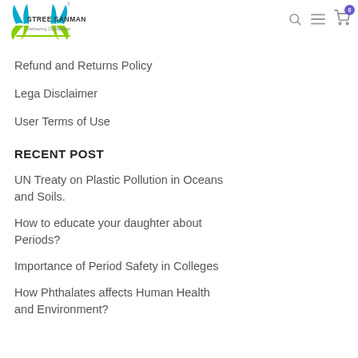[Figure (logo): Stree Sanman logo with teal/green wing design and text 'STREE SANMAN Delivering Confidence']
Refund and Returns Policy
Lega Disclaimer
User Terms of Use
RECENT POST
UN Treaty on Plastic Pollution in Oceans and Soils.
How to educate your daughter about Periods?
Importance of Period Safety in Colleges
How Phthalates affects Human Health and Environment?